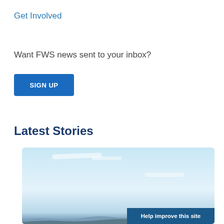Get Involved
Want FWS news sent to your inbox?
SIGN UP
Latest Stories
[Figure (photo): Landscape photo showing a wide open sky with light blue tones, sparse clouds, and distant terrain/hills at the horizon.]
Help improve this site